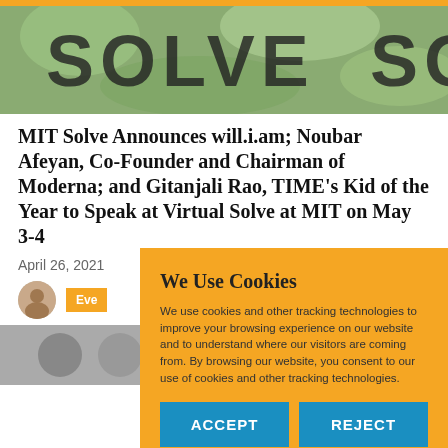[Figure (photo): MIT Solve banner/header image with large letters SOLVE overlaid on a green plant/garden background]
MIT Solve Announces will.i.am; Noubar Afeyan, Co-Founder and Chairman of Moderna; and Gitanjali Rao, TIME’s Kid of the Year to Speak at Virtual Solve at MIT on May 3-4
April 26, 2021
[Figure (photo): Author avatar photo (small circular portrait)]
Eve
[Figure (photo): Group photo at bottom of article]
We Use Cookies

We use cookies and other tracking technologies to improve your browsing experience on our website and to understand where our visitors are coming from. By browsing our website, you consent to our use of cookies and other tracking technologies.

ACCEPT   REJECT